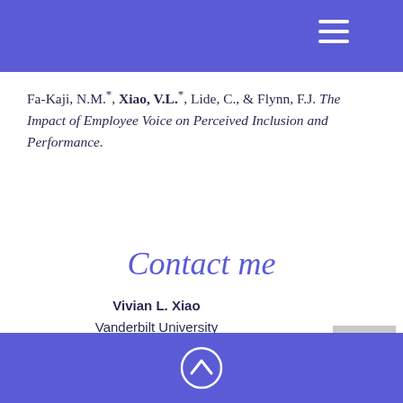≡ (hamburger menu icon)
Fa-Kaji, N.M.*, Xiao, V.L.*, Lide, C., & Flynn, F.J. The Impact of Employee Voice on Perceived Inclusion and Performance.
Contact me
Vivian L. Xiao
Vanderbilt University
Owen Graduate School of Management
401 21st Avenue S., Nashville, TN 37203
[Figure (other): Social media icons: email envelope, Twitter bird, LinkedIn 'in' logo]
Back to top arrow chevron icon in blue footer bar